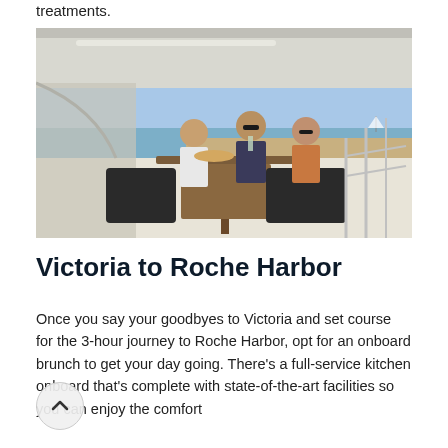treatments.
[Figure (photo): People dining at a table on the deck of a yacht, with a harbor and blue sky in the background.]
Victoria to Roche Harbor
Once you say your goodbyes to Victoria and set course for the 3-hour journey to Roche Harbor, opt for an onboard brunch to get your day going. There's a full-service kitchen onboard that's complete with state-of-the-art facilities so you can enjoy the comfort